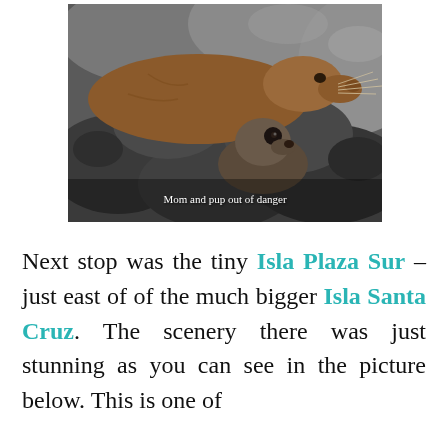[Figure (photo): A mother sea lion and her pup resting on dark volcanic rocks. The adult sea lion is brown with whiskers visible, and the pup is darker gray. A white caption text reads 'Mom and pup out of danger' overlaid on the lower portion of the image.]
Mom and pup out of danger
Next stop was the tiny Isla Plaza Sur – just east of of the much bigger Isla Santa Cruz. The scenery there was just stunning as you can see in the picture below. This is one of